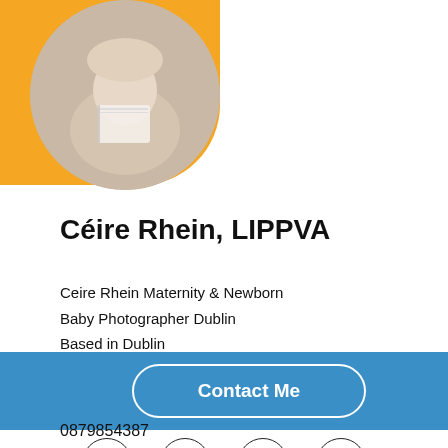[Figure (photo): Circular portrait photo of a person holding a photo album/book, set against an orange background shape in the upper left corner]
Céire Rhein, LIPPVA
Ceire Rhein Maternity & Newborn
Baby Photographer Dublin
Based in Dublin
Contact Me
[Figure (infographic): Social media icons row: Facebook, Instagram, LinkedIn, YouTube — each in a circular border]
0879854387